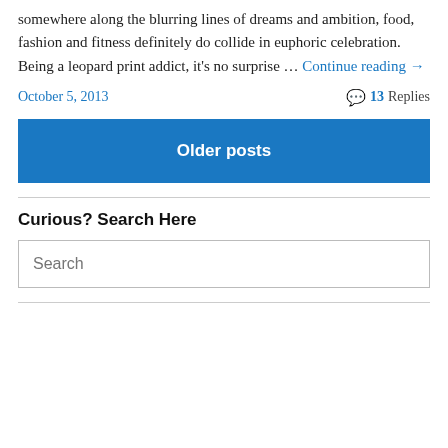somewhere along the blurring lines of dreams and ambition, food, fashion and fitness definitely do collide in euphoric celebration. Being a leopard print addict, it's no surprise … Continue reading →
October 5, 2013    💬 13 Replies
Older posts
Curious? Search Here
Search